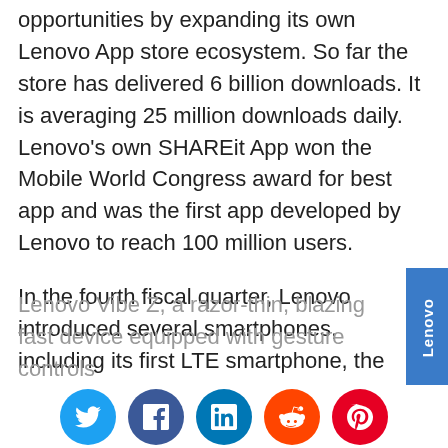opportunities by expanding its own Lenovo App store ecosystem. So far the store has delivered 6 billion downloads. It is averaging 25 million downloads daily. Lenovo's own SHAREit App won the Mobile World Congress award for best app and was the first app developed by Lenovo to reach 100 million users.
In the fourth fiscal quarter, Lenovo introduced several smartphones, including its first LTE smartphone, the
Lenovo Vibe Z, a razor-thin, blazing fast device equipped with gesture controls